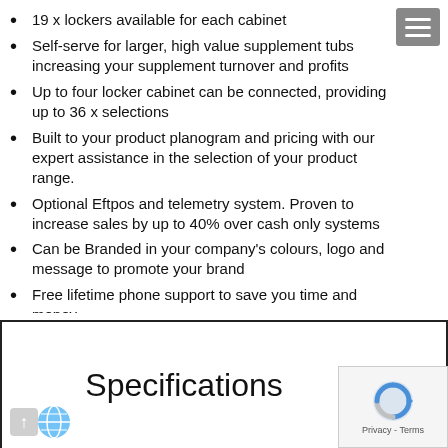19 x lockers available for each cabinet
Self-serve for larger, high value supplement tubs increasing your supplement turnover and profits
Up to four locker cabinet can be connected, providing up to 36 x selections
Built to your product planogram and pricing with our expert assistance in the selection of your product range.
Optional Eftpos and telemetry system. Proven to increase sales by up to 40% over cash only systems
Can be Branded in your company's colours, logo and message to promote your brand
Free lifetime phone support to save you time and money.
Sales, support and service Australia wide.
Specifications